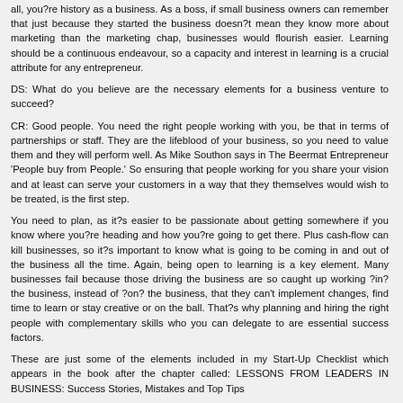all, you?re history as a business. As a boss, if small business owners can remember that just because they started the business doesn?t mean they know more about marketing than the marketing chap, businesses would flourish easier. Learning should be a continuous endeavour, so a capacity and interest in learning is a crucial attribute for any entrepreneur.
DS: What do you believe are the necessary elements for a business venture to succeed?
CR: Good people. You need the right people working with you, be that in terms of partnerships or staff. They are the lifeblood of your business, so you need to value them and they will perform well. As Mike Southon says in The Beermat Entrepreneur 'People buy from People.' So ensuring that people working for you share your vision and at least can serve your customers in a way that they themselves would wish to be treated, is the first step.
You need to plan, as it?s easier to be passionate about getting somewhere if you know where you?re heading and how you?re going to get there. Plus cash-flow can kill businesses, so it?s important to know what is going to be coming in and out of the business all the time. Again, being open to learning is a key element. Many businesses fail because those driving the business are so caught up working ?in? the business, instead of ?on? the business, that they can't implement changes, find time to learn or stay creative or on the ball. That?s why planning and hiring the right people with complementary skills who you can delegate to are essential success factors.
These are just some of the elements included in my Start-Up Checklist which appears in the book after the chapter called: LESSONS FROM LEADERS IN BUSINESS: Success Stories, Mistakes and Top Tips